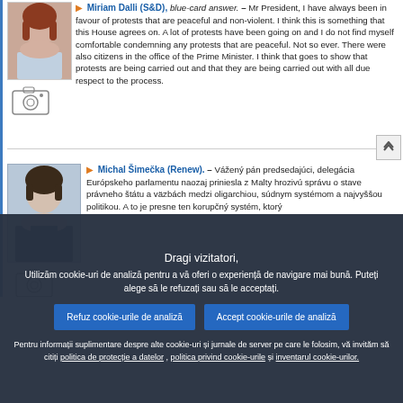Miriam Dalli (S&D), blue-card answer. – Mr President, I have always been in favour of protests that are peaceful and non-violent. I think this is something that this House agrees on. A lot of protests have been going on and I do not find myself comfortable condemning any protests that are peaceful. Not so ever. There were also citizens in the office of the Prime Minister. I think that goes to show that protests are being carried out and that they are being carried out with all due respect to the process.
Michal Šimečka (Renew). – Vážený pán predsedajúci, delegácia Európskeho parlamentu naozaj priniesla z Malty hrozivú správu o stave právneho štátu a väzbách medzi oligarchiou, súdnym systémom a najvyššou politikou. A to je presne ten korupčný systém, ktorý...
Dragi vizitatori,
Utilizăm cookie-uri de analiză pentru a vă oferi o experiență de navigare mai bună. Puteți alege să le refuzați sau să le acceptați.

Refuz cookie-urile de analiză   Accept cookie-urile de analiză

Pentru informații suplimentare despre alte cookie-uri și jurnale de server pe care le folosim, vă invităm să citiți politica de protecție a datelor , politica privind cookie-urile și inventarul cookie-urilor.